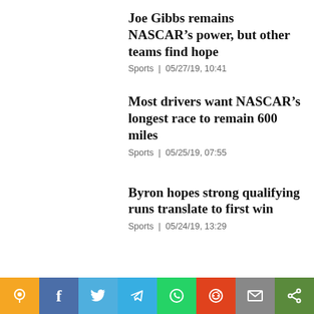Joe Gibbs remains NASCAR’s power, but other teams find hope
Sports | 05/27/19, 10:41
Most drivers want NASCAR’s longest race to remain 600 miles
Sports | 05/25/19, 07:55
Byron hopes strong qualifying runs translate to first win
Sports | 05/24/19, 13:29
Spotlight
View more >>